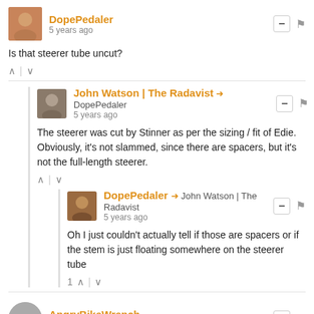DopePedaler — 5 years ago
Is that steerer tube uncut?
John Watson | The Radavist → DopePedaler — 5 years ago
The steerer was cut by Stinner as per the sizing / fit of Edie. Obviously, it's not slammed, since there are spacers, but it's not the full-length steerer.
DopePedaler → John Watson | The Radavist — 5 years ago
Oh I just couldn't actually tell if those are spacers or if the stem is just floating somewhere on the steerer tube
AngryBikeWrench — 5 years ago
This does a lot to renew my faith in humanity. Thanks to all for their part in it.